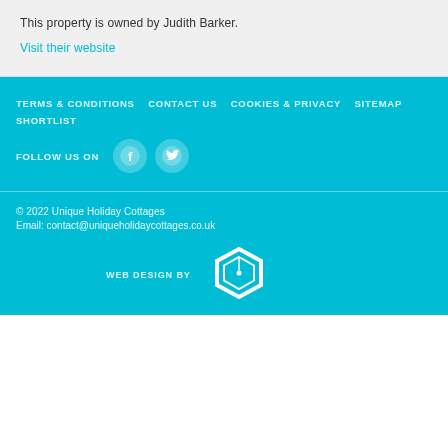This property is owned by Judith Barker.
Visit their website
TERMS & CONDITIONS   CONTACT US   COOKIES & PRIVACY   SITEMAP   SHORTLIST
FOLLOW US ON
[Figure (illustration): Facebook and Twitter social media icons (circles with F and bird logos)]
© 2022 Unique Holiday Cottages
Email: contact@uniqueholidaycottages.co.uk
WEB DESIGN BY
[Figure (logo): Hexagonal web design company logo in white outline]